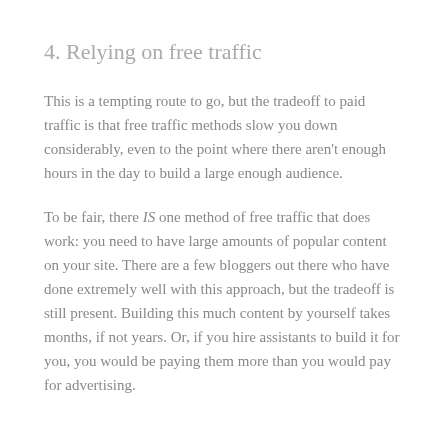4. Relying on free traffic
This is a tempting route to go, but the tradeoff to paid traffic is that free traffic methods slow you down considerably, even to the point where there aren't enough hours in the day to build a large enough audience.
To be fair, there IS one method of free traffic that does work: you need to have large amounts of popular content on your site. There are a few bloggers out there who have done extremely well with this approach, but the tradeoff is still present. Building this much content by yourself takes months, if not years. Or, if you hire assistants to build it for you, you would be paying them more than you would pay for advertising.